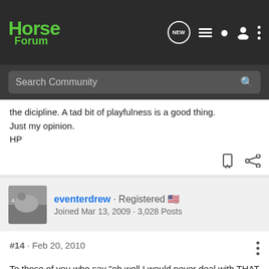[Figure (screenshot): Horse Forum website header with green logo, search bar, and nav icons on dark background]
the dicipline. A tad bit of playfulness is a good thing. Just my opinion.
HP
eventerdrew · Registered 🇺🇸
Joined Mar 13, 2009 · 3,028 Posts
#14 · Feb 20, 2010
To those of you who say "oh well I would never deal with THAT on the ground" think about this:
[Figure (screenshot): GroundOS advertisement banner: The nation's top land brokers run on GroundOS. REQUEST A DEMO]
These h... as